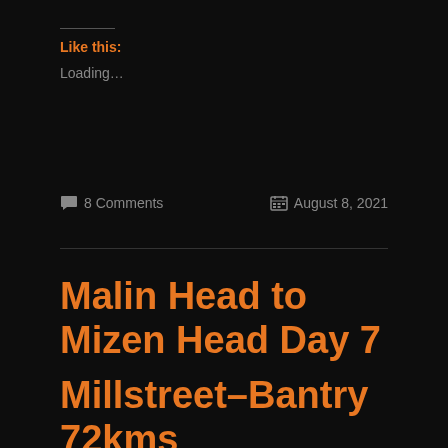Like this:
Loading...
8 Comments
August 8, 2021
Malin Head to Mizen Head Day 7
Millstreet–Bantry 72kms